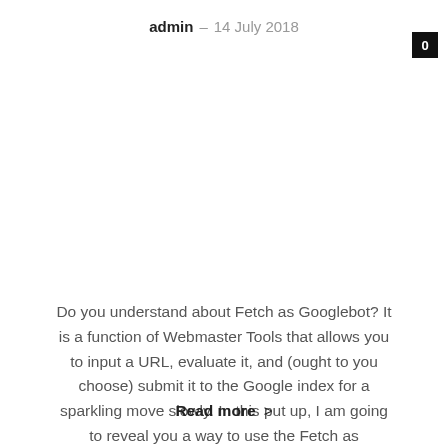admin - 14 July 2018
Do you understand about Fetch as Googlebot? It is a function of Webmaster Tools that allows you to input a URL, evaluate it, and (ought to you choose) submit it to the Google index for a sparkling move slowly. In this put up, I am going to reveal you a way to use the Fetch as Googlebot feature like...
Read more >